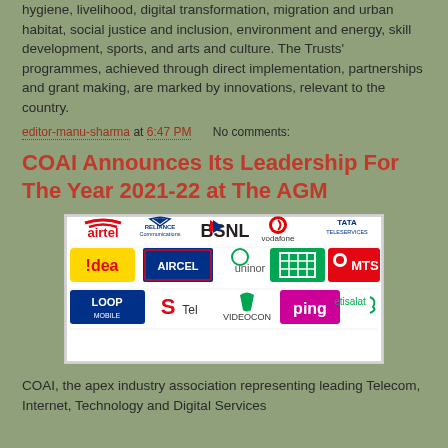hygiene, livelihood, digital transformation, migration and urban habitat, social justice and inclusion, environment and energy, skill development, sports, and arts and culture. The Trusts' programmes, achieved through direct implementation, partnerships and grant making, are marked by innovations, relevant to the country.
editor-manu-sharma at 6:47 PM   No comments:
COAI Announces Its Leadership For The Year 2021-22 at The AGM
[Figure (logo): Collage of telecom company logos: Airtel, Reliance Communications, BSNL, Vodafone, Tata Teleservices, Idea, Aircel, Uninor, (telecom logo), MTS, Loop Mobile, S Tel, Videocon, Ping, Etisalat]
COAI, the apex industry association representing leading Telecom, Internet, Technology and Digital Services